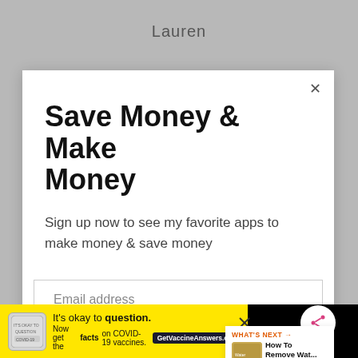Lauren
Save Money & Make Money
Sign up now to see my favorite apps to make money & save money
Email address
Get It Now
[Figure (screenshot): What's Next panel showing thumbnail and text 'How To Remove Wat...']
[Figure (infographic): Yellow advertisement bar: It's okay to question. Now get the facts on COVID-19 vaccines. GetVaccineAnswers.org]